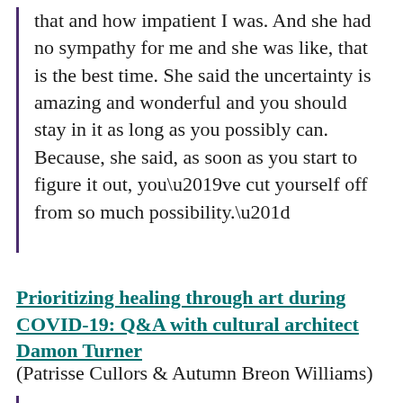that and how impatient I was. And she had no sympathy for me and she was like, that is the best time. She said the uncertainty is amazing and wonderful and you should stay in it as long as you possibly can. Because, she said, as soon as you start to figure it out, you’ve cut yourself off from so much possibility.”
Prioritizing healing through art during COVID-19: Q&A with cultural architect Damon Turner
(Patrisse Cullors & Autumn Breon Williams)